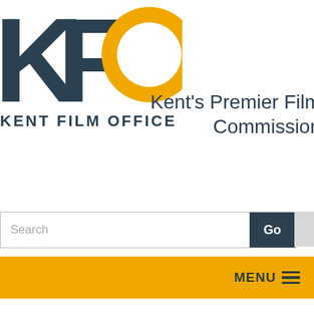[Figure (logo): KFO Kent Film Office logo — dark teal letters K and F, a gold circular ring O, with 'KENT FILM OFFICE' text below in dark teal capital letters]
Kent's Premier Film Commission
Search
Go
MENU
Comedy Showcase: